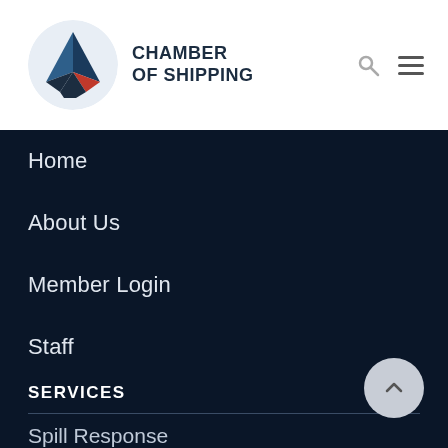[Figure (logo): Chamber of Shipping logo: circular icon with mountain/geometric shape in blue and red, next to bold text 'CHAMBER OF SHIPPING']
Home
About Us
Member Login
Staff
Board of Directors
SERVICES
Spill Response